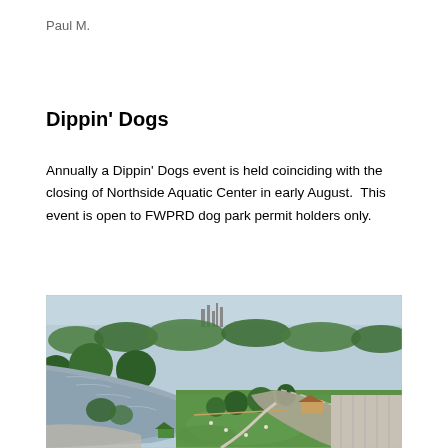Paul M.
Dippin' Dogs
Annually a Dippin' Dogs event is held coinciding with the closing of Northside Aquatic Center in early August.  This event is open to FWPRD dog park permit holders only.
[Figure (photo): Aerial view of a park with a river/creek running through it, green grass areas, trees, a parking lot, and a small shelter/pavilion. City skyline visible in the background.]